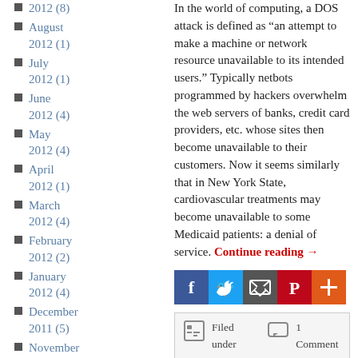2012 (8)
August 2012 (1)
July 2012 (1)
June 2012 (4)
May 2012 (4)
April 2012 (1)
March 2012 (4)
February 2012 (2)
January 2012 (4)
December 2011 (5)
November 2011 (3)
In the world of computing, a DOS attack is defined as “an attempt to make a machine or network resource unavailable to its intended users.” Typically netbots programmed by hackers overwhelm the web servers of banks, credit card providers, etc. whose sites then become unavailable to their customers. Now it seems similarly that in New York State, cardiovascular treatments may become unavailable to some Medicaid patients: a denial of service. Continue reading →
[Figure (infographic): Social sharing buttons: Facebook (blue), Twitter (blue), Email (dark), Pinterest (red), More (orange-red)]
Filed under ACC, Appropriate Use Criteria (AUC), Cost Effectiveness, Health Insurance, Interviews, Media Coverage, SCAI | 1 Comment